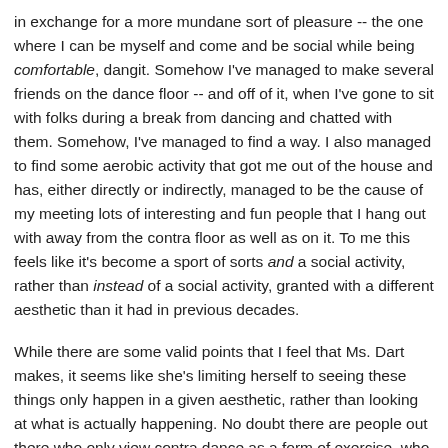in exchange for a more mundane sort of pleasure -- the one where I can be myself and come and be social while being comfortable, dangit. Somehow I've managed to make several friends on the dance floor -- and off of it, when I've gone to sit with folks during a break from dancing and chatted with them. Somehow, I've managed to find a way. I also managed to find some aerobic activity that got me out of the house and has, either directly or indirectly, managed to be the cause of my meeting lots of interesting and fun people that I hang out with away from the contra floor as well as on it. To me this feels like it's become a sport of sorts and a social activity, rather than instead of a social activity, granted with a different aesthetic than it had in previous decades.
While there are some valid points that I feel that Ms. Dart makes, it seems like she's limiting herself to seeing these things only happen in a given aesthetic, rather than looking at what is actually happening. No doubt there are people out there who only view contra dance as a form of exercise, who are only looking for the next big thing, and who won't give anyone the time of day unless they're already a supremely skilled dancer. And yes, I'll agree that those sorts of people are not